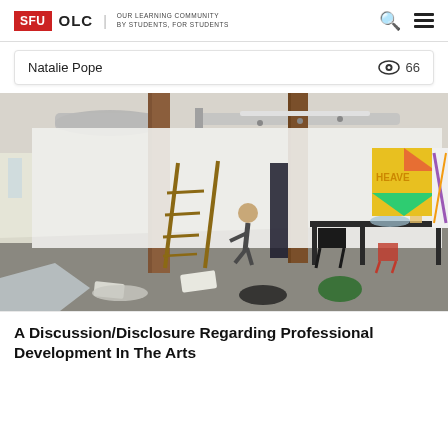SFU OLC | OUR LEARNING COMMUNITY BY STUDENTS, FOR STUDENTS
Natalie Pope   66
[Figure (photo): An art studio workspace with wooden beam pillars, a ladder, a person bending over near a wall, tables cluttered with art supplies, colorful paintings/banners on the right wall including one reading 'HEAVE', and exposed ductwork on the ceiling.]
A Discussion/Disclosure Regarding Professional Development In The Arts